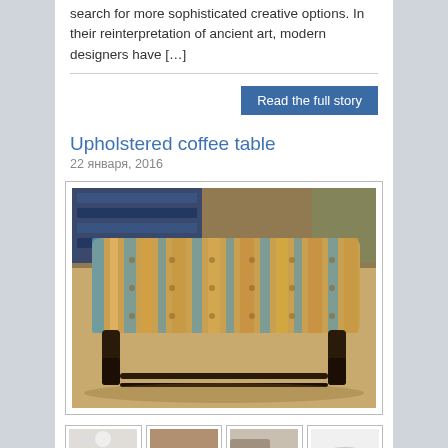search for more sophisticated creative options. In their reinterpretation of ancient art, modern designers have […]
Read the full story
Upholstered coffee table
22 января, 2016
[Figure (photo): An upholstered coffee table with striped fabric cushion top and dark wooden legs with cross-bar stretcher]
[Figure (photo): Thumbnail: white upholstered ottoman coffee table]
[Figure (photo): Thumbnail: brown tufted leather ottoman coffee table]
[Figure (photo): Thumbnail: white round ottoman with sofa]
[Figure (photo): Thumbnail: round grey/white ottoman on black legs]